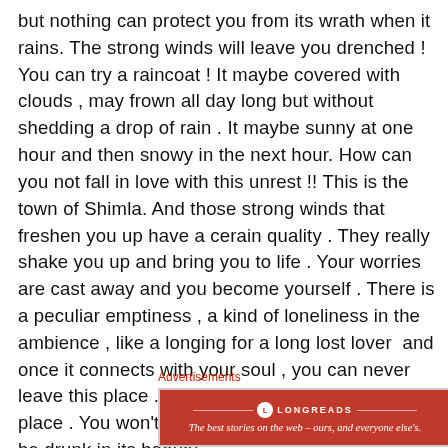but nothing can protect you from its wrath when it rains. The strong winds will leave you drenched ! You can try a raincoat ! It maybe covered with clouds , may frown all day long but without shedding a drop of rain . It maybe sunny at one hour and then snowy in the next hour. How can you not fall in love with this unrest !! This is the town of Shimla. And those strong winds that freshen you up have a cerain quality . They really shake you up and bring you to life . Your worries are cast away and you become yourself . There is a peculiar emptiness , a kind of loneliness in the ambience , like a longing for a long lost lover  and once it connects with your soul , you can never leave this place . You will fall in love with this place . You won't require any company . You will be drunk in its beauty.
Advertisements
[Figure (logo): Longreads advertisement banner — red background with Longreads logo and tagline: The best stories on the web – ours, and everyone else's.]